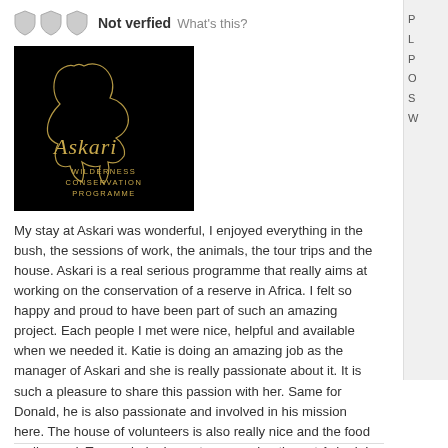Not verfied  What's this?
[Figure (logo): Askari Wilderness Conservation Programme logo — white line drawing of an elephant head on black background with stylized text]
My stay at Askari was wonderful, I enjoyed everything in the bush, the sessions of work, the animals, the tour trips and the house. Askari is a real serious programme that really aims at working on the conservation of a reserve in Africa. I felt so happy and proud to have been part of such an amazing project. Each people I met were nice, helpful and available when we needed it. Katie is doing an amazing job as the manager of Askari and she is really passionate about it. It is such a pleasure to share this passion with her. Same for Donald, he is also passionate and involved in his mission here. The house of volunteers is also really nice and the food really good. To conclude, I spent an amazing time at Askari, I will never forget it and I am actually wondering when I am going to come back! Thank you for everything and congratulations for the great job you are doing, keep it up and never change!!
Reply  I found this helpful  0  Share  Tweet